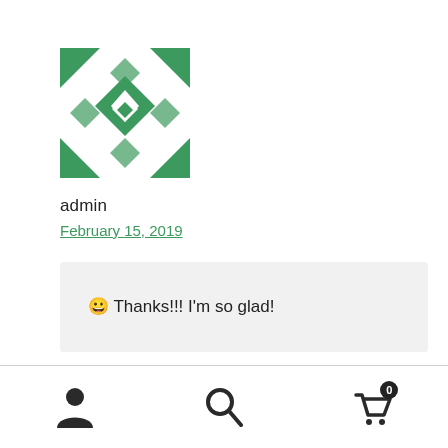[Figure (illustration): Teal/green geometric avatar icon with diamond and arrow pattern]
admin
February 15, 2019
😀 Thanks!!! I'm so glad!
Reply ↩
[Figure (illustration): Bottom navigation bar with person icon, search icon, and cart icon with badge showing 0]